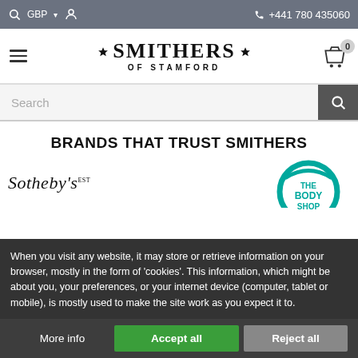🔍  GBP ▾  👤    +441 780 435060
[Figure (logo): Smithers of Stamford logo with stars and hamburger menu, cart with 0 items]
Search
BRANDS THAT TRUST SMITHERS
[Figure (logo): Sotheby's logo (italic serif text with EST superscript)]
[Figure (logo): The Body Shop logo (teal circular design with text THE BODY SHOP)]
When you visit any website, it may store or retrieve information on your browser, mostly in the form of 'cookies'. This information, which might be about you, your preferences, or your internet device (computer, tablet or mobile), is mostly used to make the site work as you expect it to.
More info   Accept all   Reject all